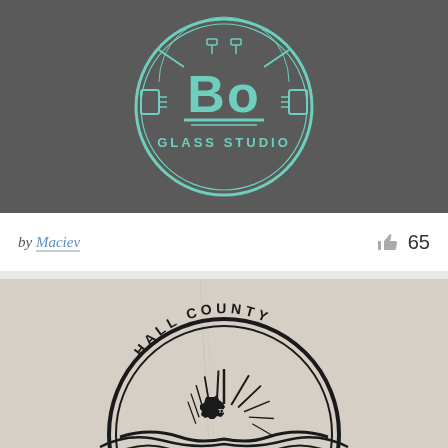[Figure (logo): Bo Glass Studio circular logo in teal/mint color on dark gray background. Shows the letters 'Bo' large in center with 'GLASS STUDIO' text below, surrounded by a decorative circular border with ornamental elements.]
by Maciev
65
[Figure (logo): Hall County TX logo/badge on a textured beige/cream paper background. Black ink stamp style circular emblem with 'HALL COUNTY' text at top, sunburst rays, and Texas state shape with 'TX' inside, with decorative wing-like elements at bottom.]